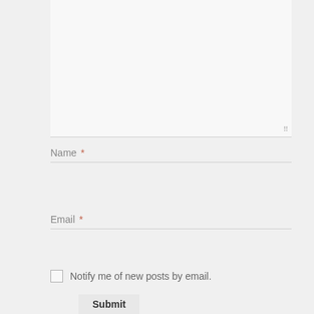[Figure (screenshot): A web comment form showing a textarea at the top (empty), followed by a Name field with red asterisk required marker, an Email field with red asterisk required marker, a checkbox labeled 'Notify me of new posts by email.', and a Submit button.]
Name *
Email *
Notify me of new posts by email.
Submit